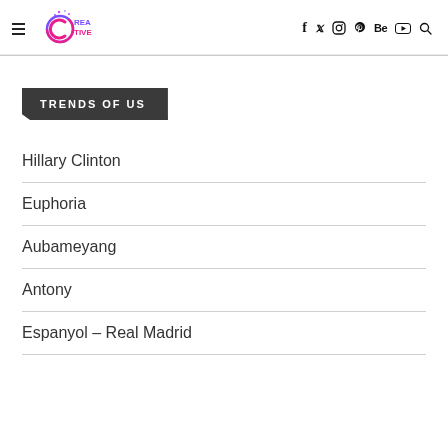CREATIVE — f y instagram pinterest Be youtube search
TRENDS OF US
Hillary Clinton
Euphoria
Aubameyang
Antony
Espanyol – Real Madrid